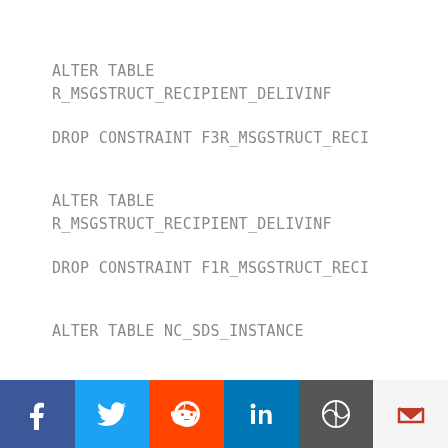ALTER TABLE R_MSGSTRUCT_RECIPIENT_DELIVINF

DROP CONSTRAINT F3R_MSGSTRUCT_RECI
ALTER TABLE R_MSGSTRUCT_RECIPIENT_DELIVINF

DROP CONSTRAINT F1R_MSGSTRUCT_RECI
ALTER TABLE NC_SDS_INSTANCE
[Figure (infographic): Social sharing bar with icons for Facebook (blue), Twitter (light blue), Reddit (orange), LinkedIn (blue), WordPress (dark gray), Gmail (light gray with red M)]